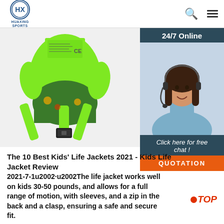HUAXING SPORTS
[Figure (photo): Back view of a green kids life jacket with buckle straps and CE marking label]
[Figure (photo): 24/7 Online customer service agent - woman with headset smiling. Includes '24/7 Online' banner, 'Click here for free chat!' text, and 'QUOTATION' orange button.]
The 10 Best Kids' Life Jackets 2021 - Kids Life Jacket Review
2021-7-1u2002·u2002The life jacket works well on kids 30-50 pounds, and allows for a full range of motion, with sleeves, and a zip in the back and a clasp, ensuring a safe and secure fit.
Get Price